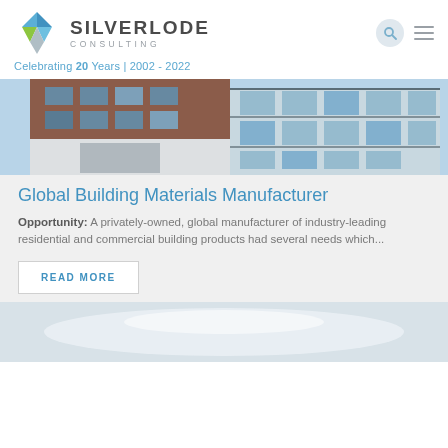[Figure (logo): Silverlode Consulting logo with diamond/cube icon and company name]
Celebrating 20 Years | 2002 - 2022
[Figure (photo): Exterior photo of a brick and glass commercial building]
Global Building Materials Manufacturer
Opportunity: A privately-owned, global manufacturer of industry-leading residential and commercial building products had several needs which...
READ MORE
[Figure (photo): Partial photo of building or sky at bottom of page]